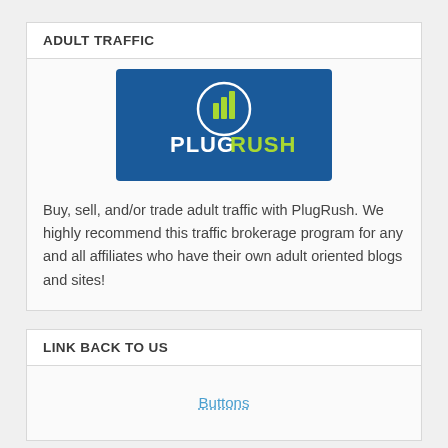ADULT TRAFFIC
[Figure (logo): PlugRush logo — blue rectangle with a bar chart icon in a circle and PLUGRUSH text in white/green]
Buy, sell, and/or trade adult traffic with PlugRush. We highly recommend this traffic brokerage program for any and all affiliates who have their own adult oriented blogs and sites!
LINK BACK TO US
Buttons
FOLLOW US